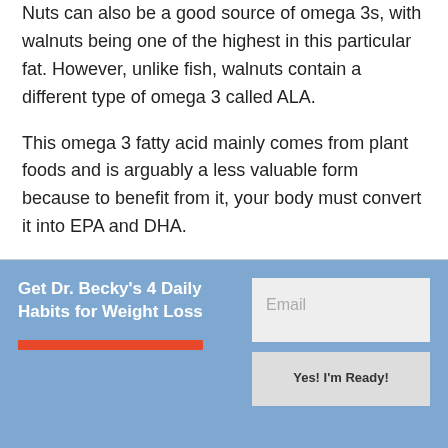Nuts can also be a good source of omega 3s, with walnuts being one of the highest in this particular fat. However, unlike fish, walnuts contain a different type of omega 3 called ALA.
This omega 3 fatty acid mainly comes from plant foods and is arguably a less valuable form because to benefit from it, your body must convert it into EPA and DHA.
[Figure (other): Blue promotional signup banner with text 'Get Dr. Becky's 4 Daily Habits for Weight Loss', an orange decorative bar, an email input field, and a 'Yes! I'm Ready!' submit button.]